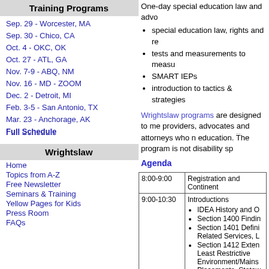Training Programs
Sep. 29 - Worcester, MA
Sep. 30 - Chico, CA
Oct. 4 - OKC, OK
Oct. 27 - ATL, GA
Nov. 7-9 - ABQ, NM
Nov. 16 - MD - ZOOM
Dec. 2 - Detroit, MI
Feb. 3-5 - San Antonio, TX
Mar. 23 - Anchorage, AK
Full Schedule
Wrightslaw
Home
Topics from A-Z
Free Newsletter
Seminars & Training
Yellow Pages for Kids
Press Room
FAQs
One-day special education law and advo...
special education law, rights and re...
tests and measurements to measu...
SMART IEPs
introduction to tactics & strategies...
Wrightslaw programs are designed to me... providers, advocates and attorneys who r... education. The program is not disability sp...
Agenda
| Time | Description |
| --- | --- |
| 8:00-9:00 | Registration and Continent... |
| 9:00-10:30 | Introductions
• IDEA History and O...
• Section 1400 Findin...
• Section 1401 Defini... Related Services, L...
• Section 1412 Exten... Least Restrictive Environment/Mains... Placements, Statew... |
| 10:30-10:45 | Break |
|  | • Understanding Test... Bell Curve, Standar... |